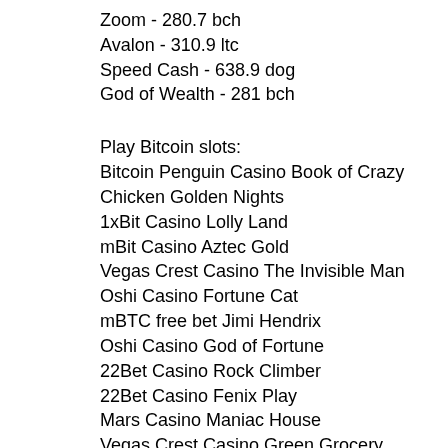Zoom - 280.7 bch
Avalon - 310.9 ltc
Speed Cash - 638.9 dog
God of Wealth - 281 bch
Play Bitcoin slots:
Bitcoin Penguin Casino Book of Crazy Chicken Golden Nights
1xBit Casino Lolly Land
mBit Casino Aztec Gold
Vegas Crest Casino The Invisible Man
Oshi Casino Fortune Cat
mBTC free bet Jimi Hendrix
Oshi Casino God of Fortune
22Bet Casino Rock Climber
22Bet Casino Fenix Play
Mars Casino Maniac House
Vegas Crest Casino Green Grocery
FortuneJack Casino Wild North
OneHash Misty Forest
mBit Casino Desert Drag